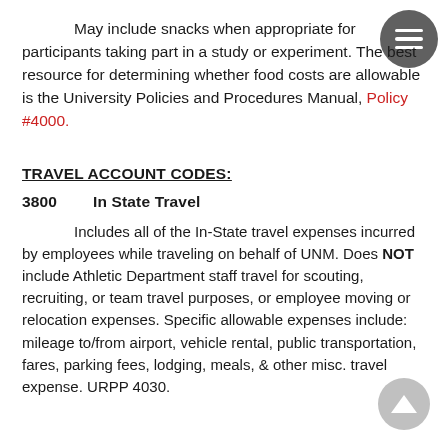May include snacks when appropriate for participants taking part in a study or experiment. The best resource for determining whether food costs are allowable is the University Policies and Procedures Manual, Policy #4000.
TRAVEL ACCOUNT CODES:
3800    In State Travel
Includes all of the In-State travel expenses incurred by employees while traveling on behalf of UNM. Does NOT include Athletic Department staff travel for scouting, recruiting, or team travel purposes, or employee moving or relocation expenses. Specific allowable expenses include: mileage to/from airport, vehicle rental, public transportation, fares, parking fees, lodging, meals, & other misc. travel expense. URPP 4030.